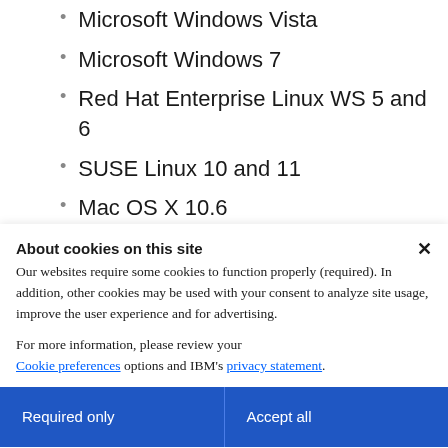Microsoft Windows Vista
Microsoft Windows 7
Red Hat Enterprise Linux WS 5 and 6
SUSE Linux 10 and 11
Mac OS X 10.6
DB2 QMF for Workstation supports the following DB2 database servers (subject to license
About cookies on this site
Our websites require some cookies to function properly (required). In addition, other cookies may be used with your consent to analyze site usage, improve the user experience and for advertising.

For more information, please review your Cookie preferences options and IBM's privacy statement.
Required only
Accept all